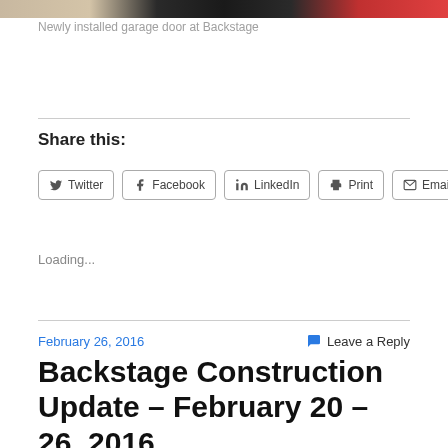[Figure (photo): Partial top strip of a photo showing a newly installed garage door at Backstage]
Newly installed garage door at Backstage
Share this:
Twitter  Facebook  LinkedIn  Print  Email
Loading...
February 26, 2016
Leave a Reply
Backstage Construction Update – February 20 – 26, 2016